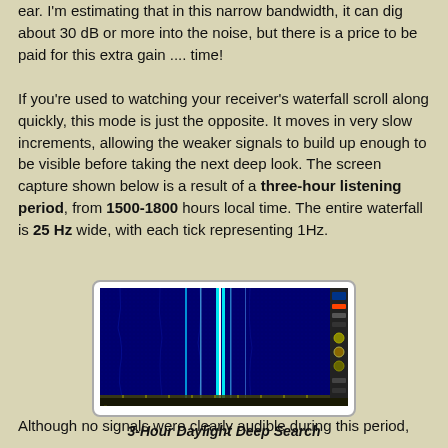ear. I'm estimating that in this narrow bandwidth, it can dig about 30 dB or more into the noise, but there is a price to be paid for this extra gain .... time!
If you're used to watching your receiver's waterfall scroll along quickly, this mode is just the opposite. It moves in very slow increments, allowing the weaker signals to build up enough to be visible before taking the next deep look. The screen capture shown below is a result of a three-hour listening period, from 1500-1800 hours local time. The entire waterfall is 25 Hz wide, with each tick representing 1Hz.
[Figure (screenshot): Waterfall display screenshot showing a 3-hour daylight deep search with narrow bandwidth. The display shows a dark blue background with several vertical bright lines (signals) visible against the noise floor, spanning 25 Hz width with 1 Hz tick marks.]
3-Hour Daylight Deep Search
Although no signals were clearly audible during this period,